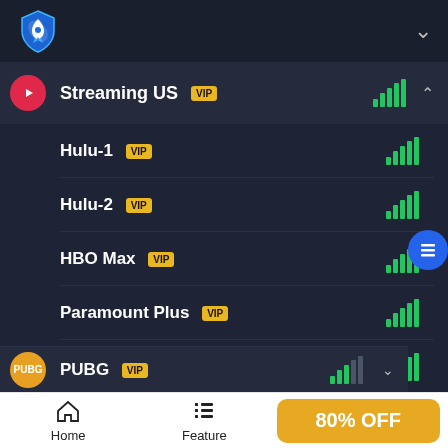[Figure (screenshot): VPN app header with blue shield+rocket logo on dark background and chevron dropdown]
Streaming US VIP — full signal
Hulu-1 VIP — full signal
Hulu-2 VIP — full signal
HBO Max VIP — full signal
Paramount Plus VIP — full signal
Peacock VIP — full signal
PUBG VIP — partial signal
Home
Feature
80% OFF